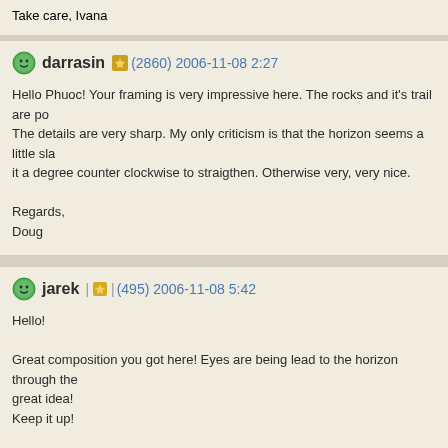Take care, Ivana
darrasin (2860) 2006-11-08 2:27
Hello Phuoc! Your framing is very impressive here. The rocks and it's trail are po... The details are very sharp. My only criticism is that the horizon seems a little sla... it a degree counter clockwise to straigthen. Otherwise very, very nice.

Regards,
Doug
jarek | (495) 2006-11-08 5:42
Hello!

Great composition you got here! Eyes are being lead to the horizon through the... great idea!
Keep it up!

Jarek.
gelarsen (437) 2007-01-21 22:07